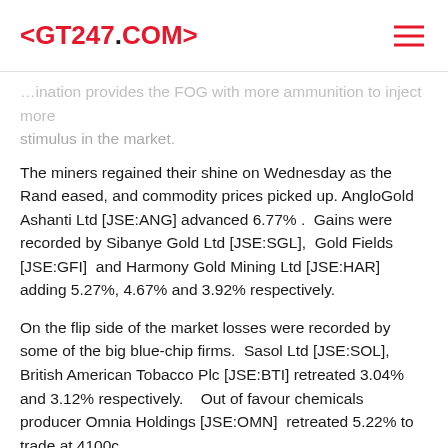<GT247.COM>
…ination provides the FOG with more ammunition to inject more stimulus in the market.
The miners regained their shine on Wednesday as the Rand eased, and commodity prices picked up. AngloGold Ashanti Ltd [JSE:ANG] advanced 6.77% .  Gains were recorded by Sibanye Gold Ltd [JSE:SGL],  Gold Fields [JSE:GFI]  and Harmony Gold Mining Ltd [JSE:HAR] adding 5.27%, 4.67% and 3.92% respectively.
On the flip side of the market losses were recorded by some of the big blue-chip firms.  Sasol Ltd [JSE:SOL], British American Tobacco Plc [JSE:BTI] retreated 3.04% and 3.12% respectively.   Out of favour chemicals producer Omnia Holdings [JSE:OMN]  retreated 5.22% to trade at 4100c.
The JSE All-Share index closed 0.1% weaker whilst the JSE Top-40 index gained 0.07%. The Resource index was firmer on the day gaining 1.13%, the Industrials retreated 0.54% whilst the Financials